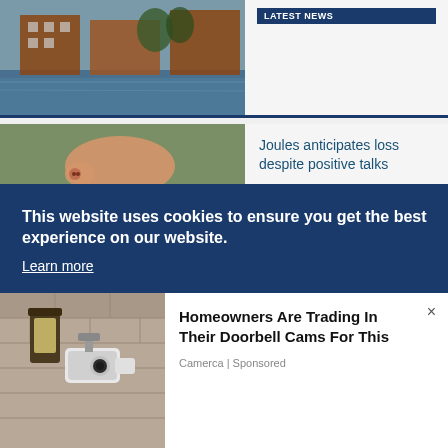[Figure (photo): Partial view of riverside brick apartment buildings with water in foreground]
LATEST NEWS
[Figure (photo): A pig and multiple pairs of colourful wellington boots lined up in a field]
Joules anticipates loss despite positive talks
IAN EVANS
LATEST NEWS
[Figure (photo): Partial headshot of a brunette woman]
Spiralling costs hampering small business growth, report finds
This website uses cookies to ensure you get the best experience on our website. Learn more
[Figure (photo): Outdoor wall-mounted security camera and lantern on stone wall]
Homeowners Are Trading In Their Doorbell Cams For This
Camerca | Sponsored